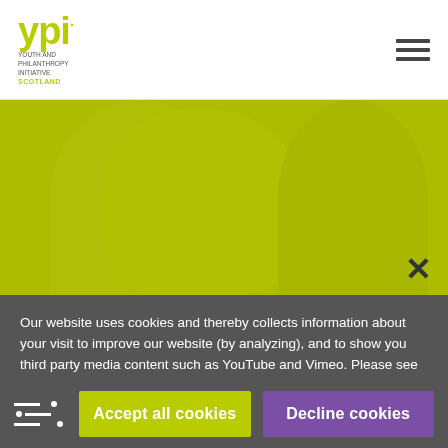[Figure (logo): YPI (Youth and Philanthropy Initiative Scotland) logo with yellow-green text]
[Figure (photo): Green/olive tinted photo of smiling young people overlaid with a yellow-green color wash]
Our website uses cookies and thereby collects information about your visit to improve our website (by analyzing), and to show you third party media content such as YouTube and Vimeo. Please see our privacy & cookies page for further details or agree by clicking the 'Accept' button.
Accept all cookies
Decline cookies